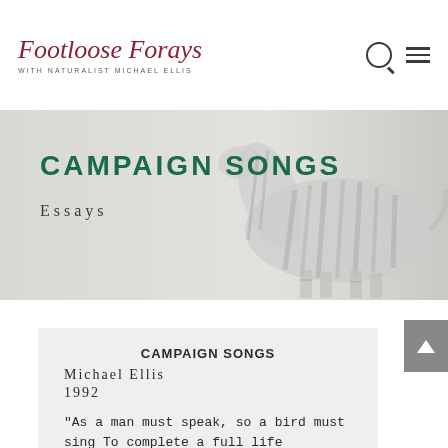Footloose Forays with Naturalist Michael Ellis
[Figure (photo): Faded black and white photo of a zebra in the background of the hero banner]
CAMPAIGN SONGS
Essays
CAMPAIGN SONGS
Michael Ellis
1992

“As a man must speak, so a bird must sing To complete a full life
[Figure (other): Scroll to top button with upward arrow]